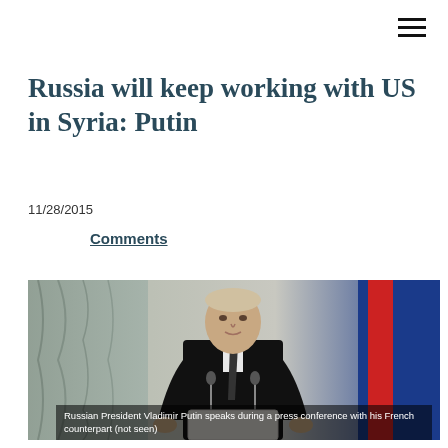≡
Russia will keep working with US in Syria: Putin
11/28/2015
Comments
[Figure (photo): Russian President Vladimir Putin speaks during a press conference with his French counterpart (not seen)]
Russian President Vladimir Putin speaks during a press conference with his French counterpart (not seen)